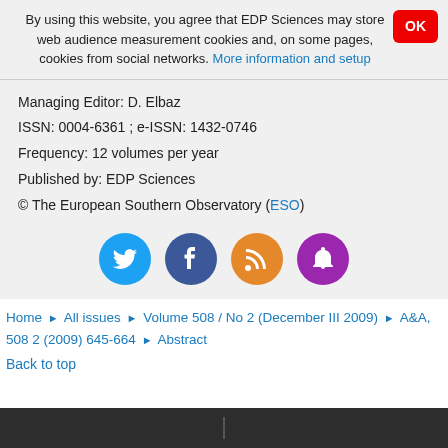By using this website, you agree that EDP Sciences may store web audience measurement cookies and, on some pages, cookies from social networks. More information and setup
OK
Managing Editor: D. Elbaz
ISSN: 0004-6361 ; e-ISSN: 1432-0746
Frequency: 12 volumes per year
Published by: EDP Sciences
© The European Southern Observatory (ESO)
[Figure (infographic): Social media icons: Twitter (blue), Facebook (dark blue), RSS feed (orange), Bell/notification (purple)]
Home ▶ All issues ▶ Volume 508 / No 2 (December III 2009) ▶ A&A, 508 2 (2009) 645-664 ▶ Abstract
Back to top